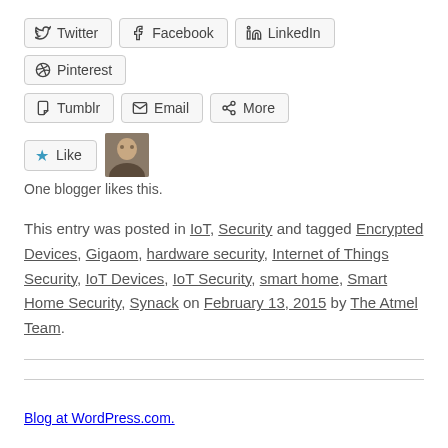[Figure (screenshot): Social share buttons: Twitter, Facebook, LinkedIn, Pinterest, Tumblr, Email, More]
[Figure (screenshot): Like button with star icon and an avatar thumbnail of a blogger]
One blogger likes this.
This entry was posted in IoT, Security and tagged Encrypted Devices, Gigaom, hardware security, Internet of Things Security, IoT Devices, IoT Security, smart home, Smart Home Security, Synack on February 13, 2015 by The Atmel Team.
Blog at WordPress.com.